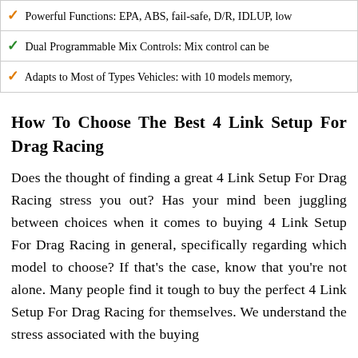Powerful Functions: EPA, ABS, fail-safe, D/R, IDLUP, low
Dual Programmable Mix Controls: Mix control can be
Adapts to Most of Types Vehicles: with 10 models memory,
How To Choose The Best 4 Link Setup For Drag Racing
Does the thought of finding a great 4 Link Setup For Drag Racing stress you out? Has your mind been juggling between choices when it comes to buying 4 Link Setup For Drag Racing in general, specifically regarding which model to choose? If that’s the case, know that you’re not alone. Many people find it tough to buy the perfect 4 Link Setup For Drag Racing for themselves. We understand the stress associated with the buying